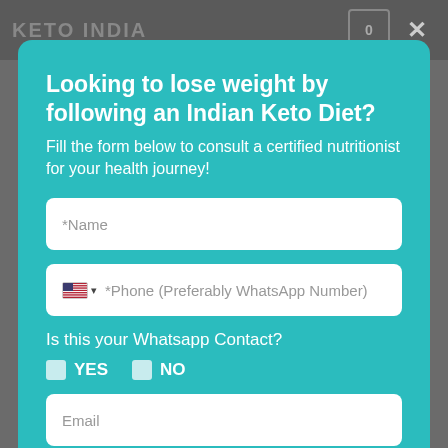KETO INDIA
Looking to lose weight by following an Indian Keto Diet?
Fill the form below to consult a certified nutritionist for your health journey!
*Name
*Phone (Preferably WhatsApp Number)
Is this your Whatsapp Contact?
YES
NO
Email
SUBMIT